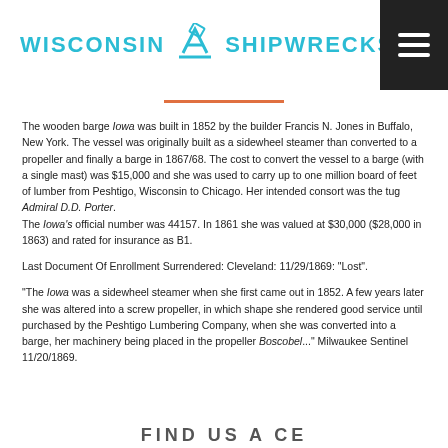WISCONSIN SHIPWRECKS
The wooden barge Iowa was built in 1852 by the builder Francis N. Jones in Buffalo, New York. The vessel was originally built as a sidewheel steamer than converted to a propeller and finally a barge in 1867/68. The cost to convert the vessel to a barge (with a single mast) was $15,000 and she was used to carry up to one million board of feet of lumber from Peshtigo, Wisconsin to Chicago. Her intended consort was the tug Admiral D.D. Porter.
The Iowa's official number was 44157. In 1861 she was valued at $30,000 ($28,000 in 1863) and rated for insurance as B1.
Last Document Of Enrollment Surrendered: Cleveland: 11/29/1869: "Lost".
"The Iowa was a sidewheel steamer when she first came out in 1852. A few years later she was altered into a screw propeller, in which shape she rendered good service until purchased by the Peshtigo Lumbering Company, when she was converted into a barge, her machinery being placed in the propeller Boscobel..." Milwaukee Sentinel 11/20/1869.
FIND US A CE